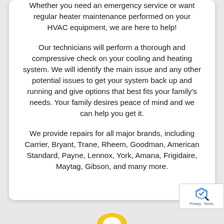Whether you need an emergency service or want regular heater maintenance performed on your HVAC equipment, we are here to help!
Our technicians will perform a thorough and compressive check on your cooling and heating system. We will identify the main issue and any other potential issues to get your system back up and running and give options that best fits your family's needs. Your family desires peace of mind and we can help you get it.
We provide repairs for all major brands, including Carrier, Bryant, Trane, Rheem, Goodman, American Standard, Payne, Lennox, York, Amana, Frigidaire, Maytag, Gibson, and many more.
[Figure (logo): reCAPTCHA badge with privacy and terms links in bottom right corner]